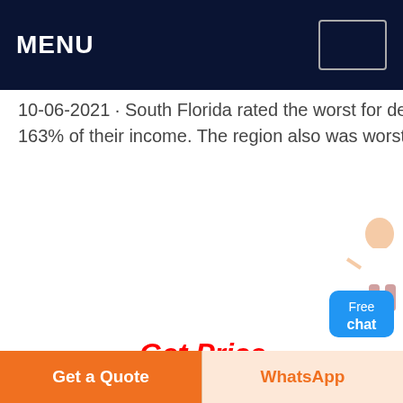MENU
10-06-2021 · South Florida rated the worst for debt-to-income ratios with residents' debt averaging 163% of their income. The region also was worst for the average number of credit
[Figure (illustration): Chatbot figure of a woman in white coat with blue Free chat button]
Get Price
[Figure (photo): Industrial mining/crushing machinery with conveyor belts against a blue sky with clouds]
Credit
01-05-2009 · Credit-Card-
Get a Quote
WhatsApp